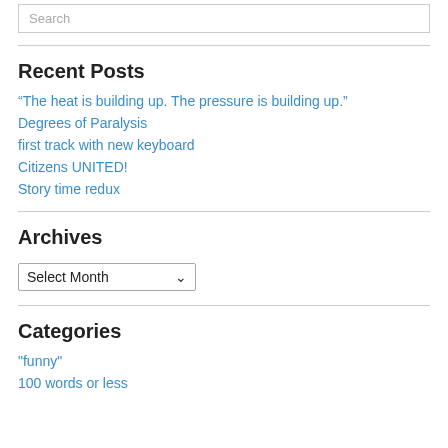Search
Recent Posts
“The heat is building up. The pressure is building up.”
Degrees of Paralysis
first track with new keyboard
Citizens UNITED!
Story time redux
Archives
Select Month
Categories
"funny"
100 words or less